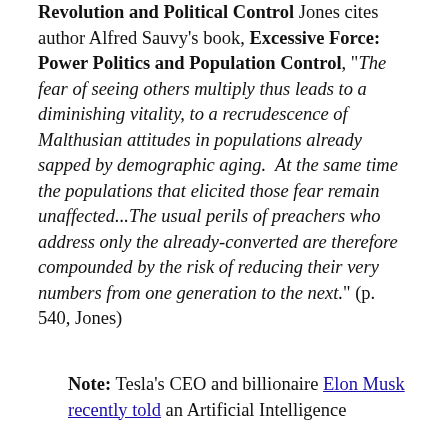Revolution and Political Control Jones cites author Alfred Sauvy's book, Excessive Force: Power Politics and Population Control, "The fear of seeing others multiply thus leads to a diminishing vitality, to a recrudescence of Malthusian attitudes in populations already sapped by demographic aging.  At the same time the populations that elicited those fear remain unaffected...The usual perils of preachers who address only the already-converted are therefore compounded by the risk of reducing their very numbers from one generation to the next." (p. 540, Jones)
Note: Tesla's CEO and billionaire Elon Musk recently told an Artificial Intelligence conference in Shanghai that the greatest…